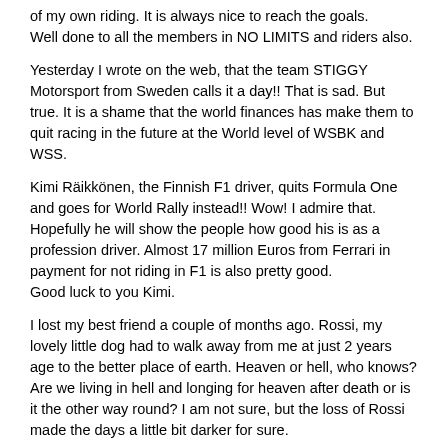of my own riding. It is always nice to reach the goals.
Well done to all the members in NO LIMITS and riders also.
Yesterday I wrote on the web, that the team STIGGY Motorsport from Sweden calls it a day!! That is sad. But true. It is a shame that the world finances has make them to quit racing in the future at the World level of WSBK and WSS.
Kimi Räikkönen, the Finnish F1 driver, quits Formula One and goes for World Rally instead!! Wow! I admire that. Hopefully he will show the people how good his is as a profession driver. Almost 17 million Euros from Ferrari in payment for not riding in F1 is also pretty good.
Good luck to you Kimi.
I lost my best friend a couple of months ago. Rossi, my lovely little dog had to walk away from me at just 2 years age to the better place of earth. Heaven or hell, who knows? Are we living in hell and longing for heaven after death or is it the other way round? I am not sure, but the loss of Rossi made the days a little bit darker for sure.
In just a weeks time it is Christmas and in two weeks it is the beginning of a new year. Yeah, fuckin´hell, I am really looking forward to turn the page and start a new chapter. No waste of looking back, just keep looking forward and still have high hopes and aiming high in the future.
Final words are taken from WASP and the song “The Headless Children”